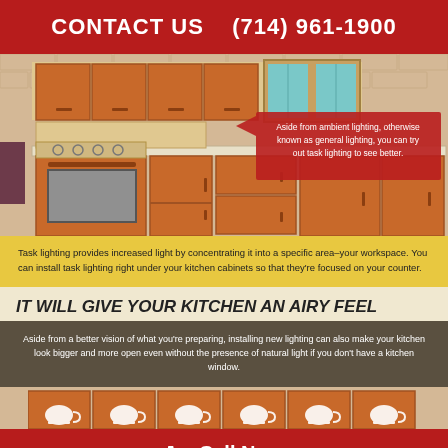CONTACT US   (714) 961-1900
[Figure (illustration): Illustration of a kitchen with upper orange/brown cabinets, teal window panels, an oven with burners, lower cabinets with drawers, and a red callout box with text about task lighting.]
Aside from ambient lighting, otherwise known as general lighting, you can try out task lighting to see better.
Task lighting provides increased light by concentrating it into a specific area–your workspace. You can install task lighting right under your kitchen cabinets so that they're focused on your counter.
IT WILL GIVE YOUR KITCHEN AN AIRY FEEL
Aside from a better vision of what you're preparing, installing new lighting can also make your kitchen look bigger and more open even without the presence of natural light if you don't have a kitchen window.
[Figure (illustration): Bottom strip showing orange-brown kitchen cabinets with teapot icons]
Call Now